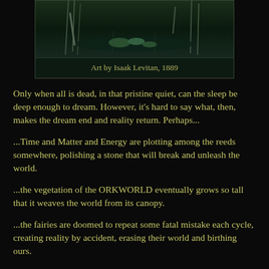[Figure (photo): Dark painting of a swamp or pond scene with reeds and lily pads, dark green tones]
Art by Isaak Levitan, 1889
Only when all is dead, in that pristine quiet, can the sleep be deep enough to dream. However, it's hard to say what, then, makes the dream end and reality return. Perhaps...
...Time and Matter and Energy are plotting among the reeds somewhere, polishing a stone that will break and unleash the world.
...the vegetation of the ORKWORLD eventually grows so tall that it weaves the world from its canopy.
...the fairies are doomed to repeat some fatal mistake each cycle, creating reality by accident, erasing their world and birthing ours.
...there is something that wakes it with a gentle whisper. Something that cannot be known at all, with a voice that reality cannot sleep through.